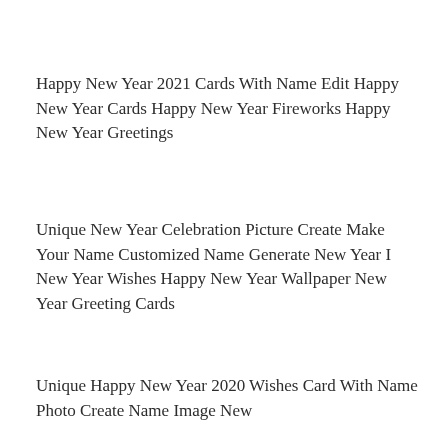Happy New Year 2021 Cards With Name Edit Happy New Year Cards Happy New Year Fireworks Happy New Year Greetings
Unique New Year Celebration Picture Create Make Your Name Customized Name Generate New Year I New Year Wishes Happy New Year Wallpaper New Year Greeting Cards
Unique Happy New Year 2020 Wishes Card With Name Photo Create Name Image New